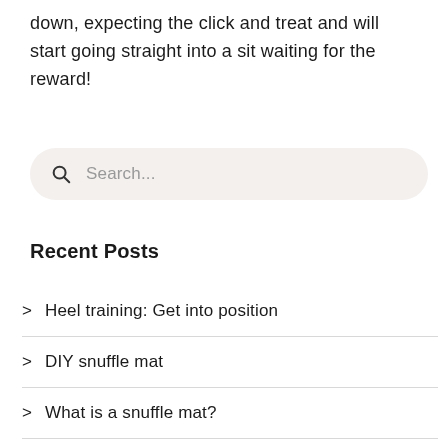down, expecting the click and treat and will start going straight into a sit waiting for the reward!
[Figure (other): Search bar with magnifying glass icon and placeholder text 'Search...']
Recent Posts
> Heel training: Get into position
> DIY snuffle mat
> What is a snuffle mat?
> Calm you dog in 10 seconds!